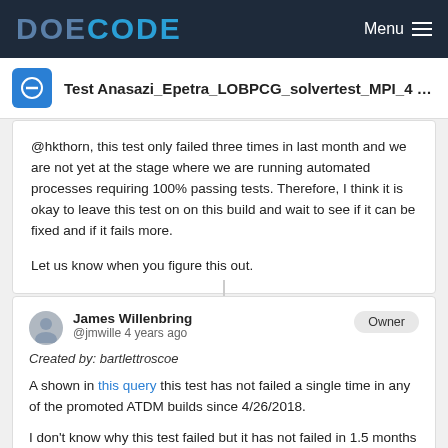DOE CODE  Menu
Test Anasazi_Epetra_LOBPCG_solvertest_MPI_4 rand...
@hkthorn, this test only failed three times in last month and we are not yet at the stage where we are running automated processes requiring 100% passing tests. Therefore, I think it is okay to leave this test on on this build and wait to see if it can be fixed and if it fails more.
Let us know when you figure this out.
James Willenbring @jmwille 4 years ago  Owner  Created by: bartlettroscoe
A shown in this query this test has not failed a single time in any of the promoted ATDM builds since 4/26/2018.
I don't know why this test failed but it has not failed in 1.5 months so I think it is okay to close this issue.